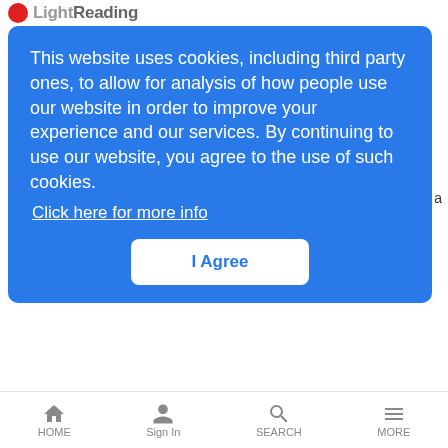LightReading
This website uses cookies, including third party ones, to allow for analysis of how people use our website in order to improve your experience and our services. By continuing to use our website, you agree to the use of such cookies.
Click here for more info
I Agree
s a
rting
WiMax Switching Ahoy?
LR Mobile News Analysis | 5/25/2004
Probably not, but WLAN startups are clearly starting to think about the MAN
Nextel & Moto WiDEN Ties
LR Mobile News Analysis | 5/25/2004
HOME  Sign In  SEARCH  MORE